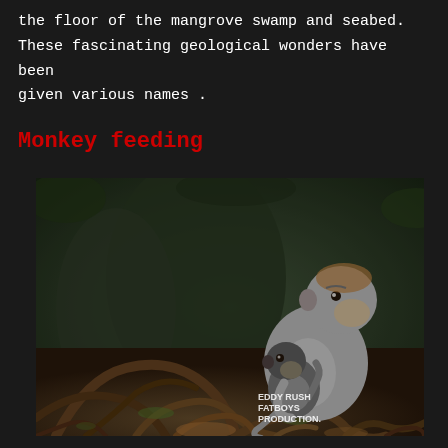the floor of the mangrove swamp and seabed. These fascinating geological wonders have been given various names .
Monkey feeding
[Figure (photo): A mother monkey (macaque) sitting among tangled tree roots in a forest, holding a baby monkey that is nursing or clinging to her chest. The background shows dark forest with large roots and foliage. A watermark in the bottom right reads 'EDDY RUSH FATBOYS PRODUCTION.']